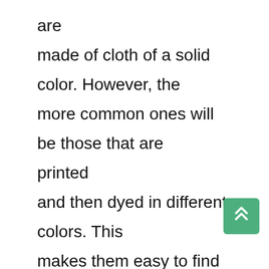are made of cloth of a solid color. However, the more common ones will be those that are printed and then dyed in different colors. This makes them easy to find and more unique looking. When you are purchasing Chinese prayer curtains or mats, it is important to know the exact measurements of your room so that you can get the best size for your needs. Make